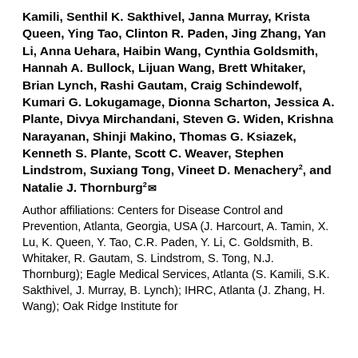Kamili, Senthil K. Sakthivel, Janna Murray, Krista Queen, Ying Tao, Clinton R. Paden, Jing Zhang, Yan Li, Anna Uehara, Haibin Wang, Cynthia Goldsmith, Hannah A. Bullock, Lijuan Wang, Brett Whitaker, Brian Lynch, Rashi Gautam, Craig Schindewolf, Kumari G. Lokugamage, Dionna Scharton, Jessica A. Plante, Divya Mirchandani, Steven G. Widen, Krishna Narayanan, Shinji Makino, Thomas G. Ksiazek, Kenneth S. Plante, Scott C. Weaver, Stephen Lindstrom, Suxiang Tong, Vineet D. Menachery², and Natalie J. Thornburg²✉
Author affiliations: Centers for Disease Control and Prevention, Atlanta, Georgia, USA (J. Harcourt, A. Tamin, X. Lu, K. Queen, Y. Tao, C.R. Paden, Y. Li, C. Goldsmith, B. Whitaker, R. Gautam, S. Lindstrom, S. Tong, N.J. Thornburg); Eagle Medical Services, Atlanta (S. Kamili, S.K. Sakthivel, J. Murray, B. Lynch); IHRC, Atlanta (J. Zhang, H. Wang); Oak Ridge Institute for